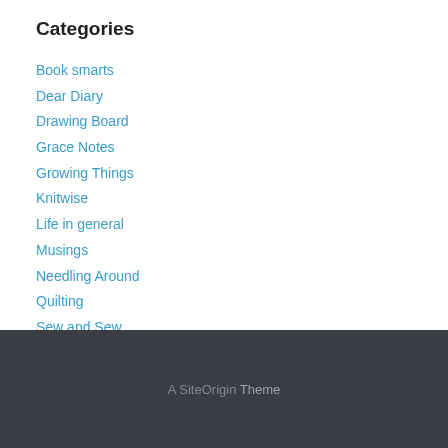Categories
Book smarts
Dear Diary
Drawing Board
Grace Notes
Growing Things
Knitwise
Life in general
Musings
Needling Around
Quilting
Sew and Sew
Travels
Uncategorized
What's Cooking
A SiteOrigin Theme